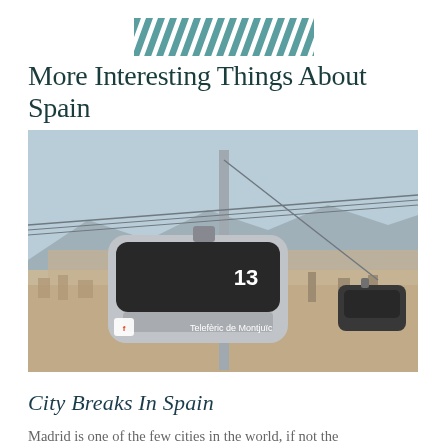[Figure (illustration): Decorative diagonal stripe pattern in teal/blue color]
More Interesting Things About Spain
[Figure (photo): Cable car gondola numbered 13 labeled 'Telefèric de Montjuïc' with Barcelona cityscape in background]
City Breaks In Spain
Madrid is one of the few cities in the world, if not the